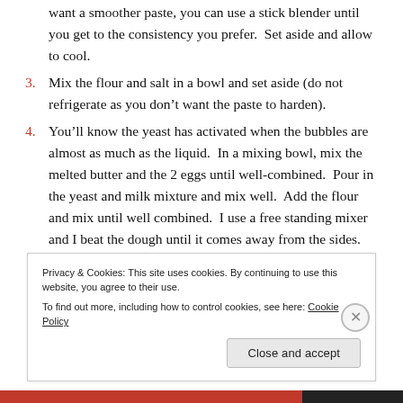want a smoother paste, you can use a stick blender until you get to the consistency you prefer.  Set aside and allow to cool.
3. Mix the flour and salt in a bowl and set aside (do not refrigerate as you don't want the paste to harden).
4. You'll know the yeast has activated when the bubbles are almost as much as the liquid.  In a mixing bowl, mix the melted butter and the 2 eggs until well-combined.  Pour in the yeast and milk mixture and mix well.  Add the flour and mix until well combined.  I use a free standing mixer and I beat the dough until it comes away from the sides.  Of course, if you don't have a mixer this can all be done by
Privacy & Cookies: This site uses cookies. By continuing to use this website, you agree to their use.
To find out more, including how to control cookies, see here: Cookie Policy
Close and accept